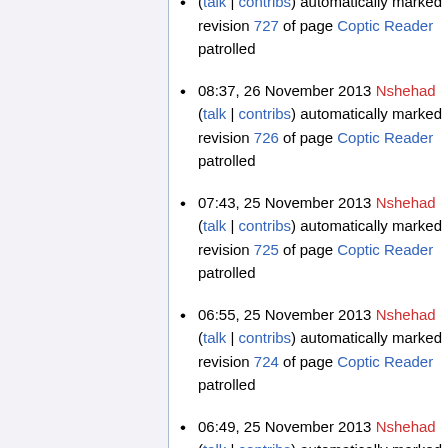(talk | contribs) automatically marked revision 727 of page Coptic Reader patrolled
08:37, 26 November 2013 Nshehad (talk | contribs) automatically marked revision 726 of page Coptic Reader patrolled
07:43, 25 November 2013 Nshehad (talk | contribs) automatically marked revision 725 of page Coptic Reader patrolled
06:55, 25 November 2013 Nshehad (talk | contribs) automatically marked revision 724 of page Coptic Reader patrolled
06:49, 25 November 2013 Nshehad (talk | contribs) automatically marked revision 723 of page Coptic Reader patrolled
05:02, 24 November 2013 Nshehad